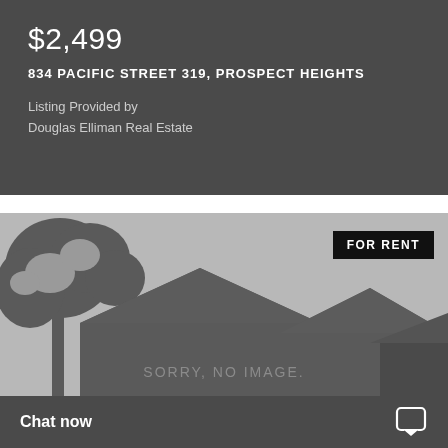$2,499
834 PACIFIC STREET 319, PROSPECT HEIGHTS
Listing Provided by
Douglas Elliman Real Estate
[Figure (illustration): Real estate listing photo placeholder showing a dark house silhouette against a gray sky with tree branches, with a FOR RENT badge overlay and SORRY, NO IMAGE. text]
Chat now